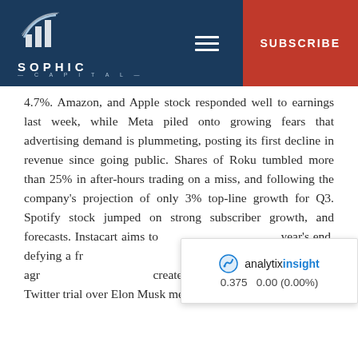SOPHIC CAPITAL — SUBSCRIBE
4.7%. Amazon, and Apple stock responded well to earnings last week, while Meta piled onto growing fears that advertising demand is plummeting, posting its first decline in revenue since going public. Shares of Roku tumbled more than 25% in after-hours trading on a miss, and following the company's projection of only 3% top-line growth for Q3. Spotify stock jumped on strong subscriber growth, and forecasts. Instacart aims to [obscured by widget] year's end, defying a fro[obscured] Eutelsat and OneWeb agr[obscured] create European satellite juggernaut. Twitter trial over Elon Musk merger is set to begin Oct...
[Figure (other): analytixinsight widget showing ticker price 0.375, change 0.00 (0.00%)]